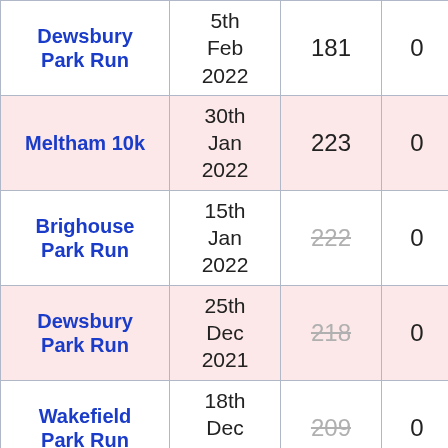| Event | Date | Position | Points |
| --- | --- | --- | --- |
| Dewsbury Park Run | 5th Feb 2022 | 181 | 0 |
| Meltham 10k | 30th Jan 2022 | 223 | 0 |
| Brighouse Park Run | 15th Jan 2022 | 222 (struck) | 0 |
| Dewsbury Park Run | 25th Dec 2021 | 218 (struck) | 0 |
| Wakefield Park Run | 18th Dec 2021 | 209 (struck) | 0 |
| Dewsbury Park Run | 4th Dec 2021 | 213 (struck) | 0 |